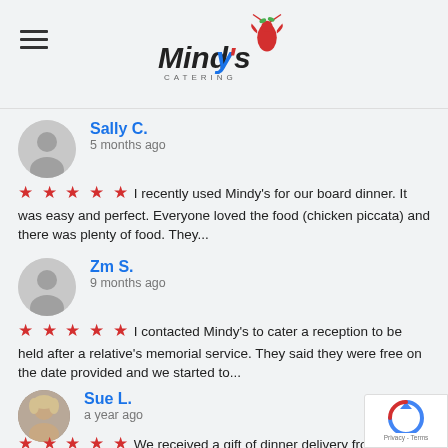[Figure (logo): Mindy's Catering logo with stylized text and red lobster/food icon]
Sally C.
5 months ago
★ ★ ★ ★ ★ I recently used Mindy's for our board dinner.  It was easy and perfect.  Everyone loved the food (chicken piccata) and there was plenty of food.  They...
Zm S.
9 months ago
★ ★ ★ ★ ★ I contacted Mindy's to cater a reception to be held after a relative's memorial service.  They said they were free on the date provided and we started to...
Sue L.
a year ago
★ ★ ★ ★ ★ We received a gift of dinner delivery from Mindys. Great delivery service and delicious